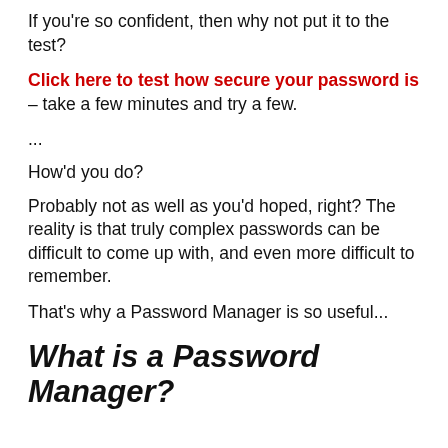If you're so confident, then why not put it to the test?
Click here to test how secure your password is – take a few minutes and try a few.
...
How'd you do?
Probably not as well as you'd hoped, right? The reality is that truly complex passwords can be difficult to come up with, and even more difficult to remember.
That's why a Password Manager is so useful...
What is a Password Manager?